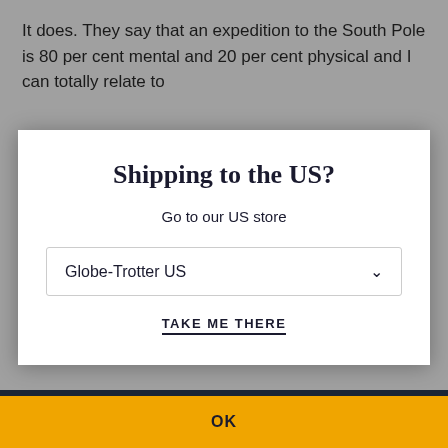It does. They say that an expedition to the South Pole is 80 per cent mental and 20 per cent physical and I can totally relate to
Shipping to the US?
Go to our US store
Globe-Trotter US
TAKE ME THERE
At Globe-Trotter, we use cookies to improve our site and your shopping experience. By using this site, you accept our cookie policy. Learn more
OK